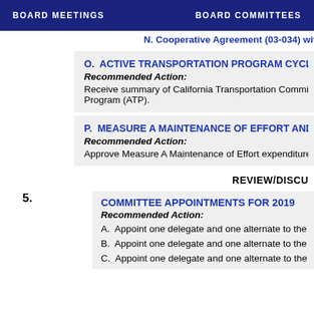BOARD MEETINGS    BOARD COMMITTEES
N. Cooperative Agreement (03-034) with Caltran...
O. ACTIVE TRANSPORTATION PROGRAM CYCLE 4
Recommended Action: Receive summary of California Transportation Commis... Program (ATP).
P. MEASURE A MAINTENANCE OF EFFORT AND ALT...
Recommended Action: Approve Measure A Maintenance of Effort expenditure...
REVIEW/DISCU...
5. COMMITTEE APPOINTMENTS FOR 2019
Recommended Action: A. Appoint one delegate and one alternate to the Calif... B. Appoint one delegate and one alternate to the Los... C. Appoint one delegate and one alternate to the Coa...